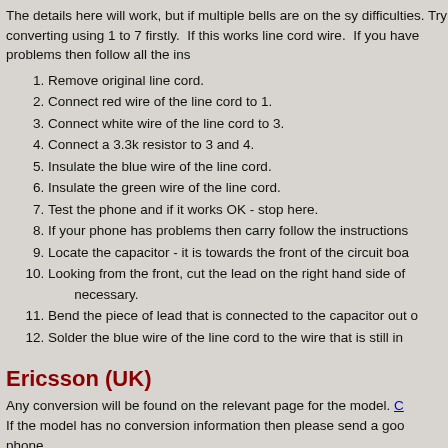The details here will work, but if multiple bells are on the sy difficulties. Try converting using 1 to 7 firstly.  If this works line cord wire.  If you have problems then follow all the ins
Remove original line cord.
Connect red wire of the line cord to 1.
Connect white wire of the line cord to 3.
Connect a 3.3k resistor to 3 and 4.
Insulate the blue wire of the line cord.
Insulate the green wire of the line cord.
Test the phone and if it works OK - stop here.
If your phone has problems then carry follow the instructions
Locate the capacitor - it is towards the front of the circuit boa
Looking from the front, cut the lead on the right hand side of necessary.
Bend the piece of lead that is connected to the capacitor out o
Solder the blue wire of the line cord to the wire that is still in
Ericsson (UK)
Any conversion will be found on the relevant page for the model. C If the model has no conversion information then please send a goo phone.
Both the circuit diagram number and telephone part number are pre